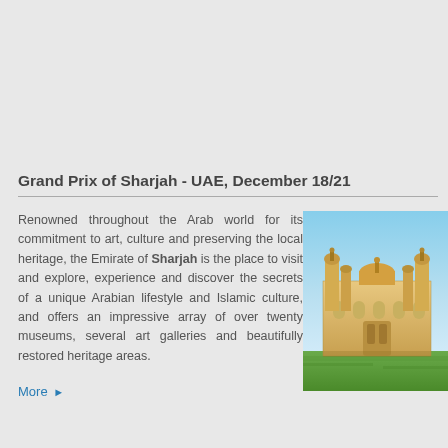Grand Prix of Sharjah - UAE, December 18/21
Renowned throughout the Arab world for its commitment to art, culture and preserving the local heritage, the Emirate of Sharjah is the place to visit and explore, experience and discover the secrets of a unique Arabian lifestyle and Islamic culture, and offers an impressive array of over twenty museums, several art galleries and beautifully restored heritage areas.
More ►
[Figure (photo): Photograph of a landmark building in Sharjah, UAE, showing an ornate structure with domed towers against a blue sky, with green lawn in the foreground.]